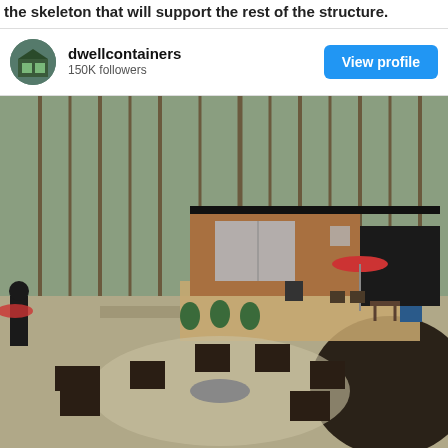the skeleton that will support the rest of the structure.
dwellcontainers
150K followers
View profile
[Figure (photo): Outdoor scene showing a modern container home with wood cladding and large glass sliding doors, set among bare trees. A deck with patio furniture and a red umbrella is visible. In the foreground, Adirondack chairs surround a stone fire pit on a gravel patio.]